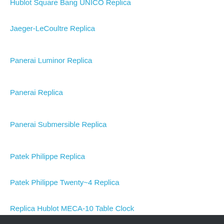Hublot Square Bang UNICO Replica
Jaeger-LeCoultre Replica
Panerai Luminor Replica
Panerai Replica
Panerai Submersible Replica
Patek Philippe Replica
Patek Philippe Twenty~4 Replica
Replica Hublot MECA-10 Table Clock
Rolex Datejust Replica
Rolex Replica Watches